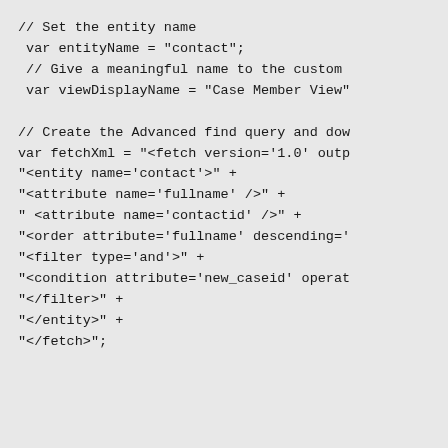// Set the entity name
 var entityName = "contact";
 // Give a meaningful name to the custom
 var viewDisplayName = "Case Member View"

// Create the Advanced find query and dow
var fetchXml = "<fetch version='1.0' outp
"<entity name='contact'>" +
"<attribute name='fullname' />" +
" <attribute name='contactid' />" +
"<order attribute='fullname' descending='
"<filter type='and'>" +
"<condition attribute='new_caseid' operat
"</filter>" +
"</entity>" +
"</fetch>";